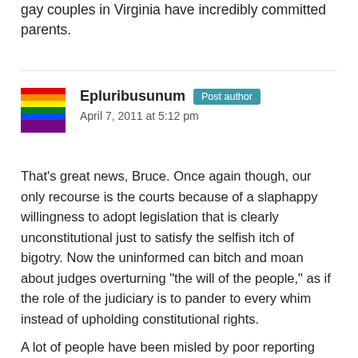At least we know that the children adopted or fostered by gay couples in Virginia have incredibly committed parents.
Epluribusunum  Post author
April 7, 2011 at 5:12 pm
That’s great news, Bruce. Once again though, our only recourse is the courts because of a slaphappy willingness to adopt legislation that is clearly unconstitutional just to satisfy the selfish itch of bigotry. Now the uninformed can bitch and moan about judges overturning “the will of the people,” as if the role of the judiciary is to pander to every whim instead of upholding constitutional rights.
A lot of people have been misled by poor reporting (that in